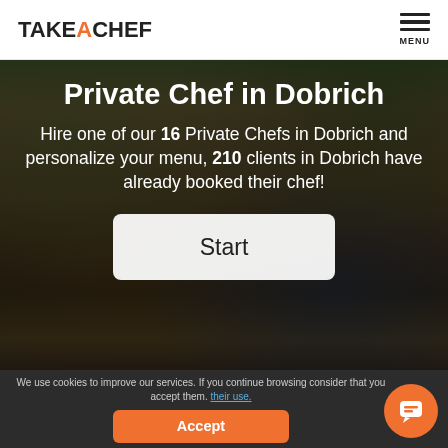TAKEACHEF — MENU
Private Chef in Dobrich
Hire one of our 16 Private Chefs in Dobrich and personalize your menu, 210 clients in Dobrich have already booked their chef!
Start
We use cookies to improve our services. If you continue browsing consider that you accept them. their use.
Accept